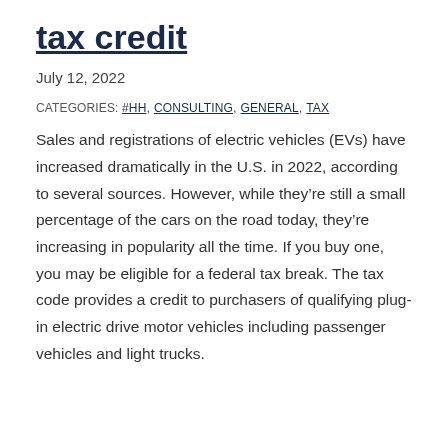tax credit
July 12, 2022
CATEGORIES: #HH, CONSULTING, GENERAL, TAX
Sales and registrations of electric vehicles (EVs) have increased dramatically in the U.S. in 2022, according to several sources. However, while they’re still a small percentage of the cars on the road today, they’re increasing in popularity all the time. If you buy one, you may be eligible for a federal tax break. The tax code provides a credit to purchasers of qualifying plug-in electric drive motor vehicles including passenger vehicles and light trucks.